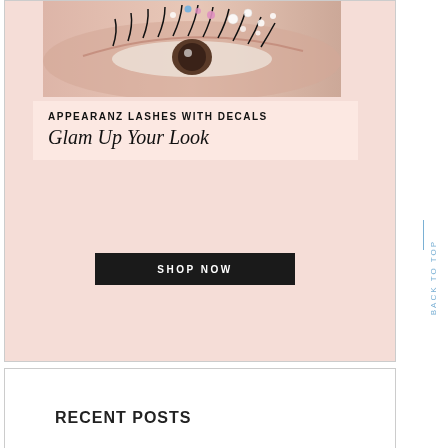[Figure (photo): Close-up photo of a woman's eye with glitter gems/decals and dramatic lashes on a pink background]
APPEARANZ LASHES WITH DECALS
Glam Up Your Look
SHOP NOW
BACK TO TOP
RECENT POSTS